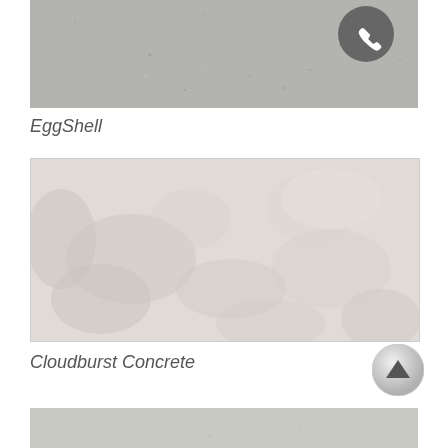[Figure (photo): EggShell quartz surface texture — light gray speckled stone]
EggShell
[Figure (photo): Cloudburst Concrete quartz surface texture — soft beige/pink marbled stone]
Cloudburst Concrete
[Figure (photo): Bottom portion of another quartz surface texture — light gray concrete-like stone]